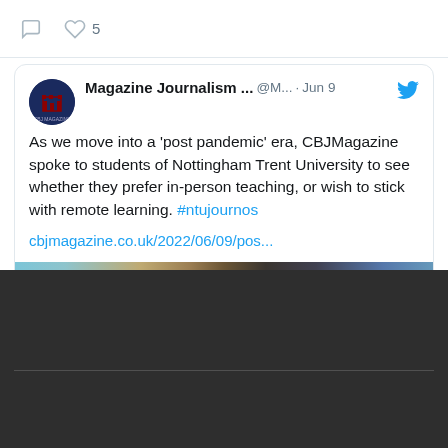[Figure (screenshot): Partial Twitter/social media interface showing like button with count of 5 at top]
Magazine Journalism ... @M... · Jun 9 — As we move into a 'post pandemic' era, CBJMagazine spoke to students of Nottingham Trent University to see whether they prefer in-person teaching, or wish to stick with remote learning. #ntujournos — cbjmagazine.co.uk/2022/06/09/pos...